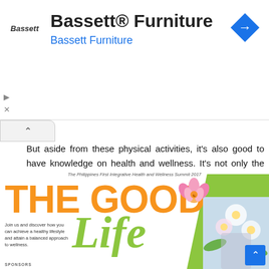[Figure (advertisement): Bassett Furniture advertisement banner with logo, title 'Bassett® Furniture', subtitle 'Bassett Furniture' in blue, and a blue navigation/map icon on the right.]
But aside from these physical activities, it's also good to have knowledge on health and wellness. It's not only the body that we need to exercise... but the mind as well. Therefore, it's glad that Runner Rocky and our boygroup the Team Runner Rocky were chosen as one of the media partners in this very first integrated health and wellness summit, The Good Life!
[Figure (photo): The Good Life summit promotional image. Shows 'The Philippines First Integrative Health and Wellness Summit 2017' tagline, large orange text 'THE GOOD' with italic green 'Life', a lotus/flower graphic, green diagonal bar, and descriptive text 'Join us and discover how you can achieve a healthy lifestyle and attain a balanced approach to wellness.' with SPONSORS label at bottom.]